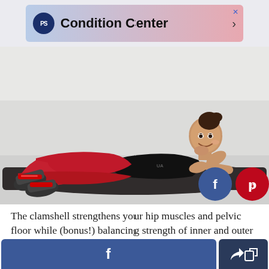[Figure (logo): POPSUGAR Condition Center advertisement banner with gradient pink-blue background]
[Figure (photo): Woman in red leggings and black top lying on her side on a dark exercise mat, performing a clamshell exercise position. Two social share buttons (Facebook blue circle and Pinterest red circle) are overlaid in the bottom right corner.]
The clamshell strengthens your hip muscles and pelvic floor while (bonus!) balancing strength of inner and outer thighs, Bonney told
[Figure (other): Bottom toolbar with Facebook share button (blue) and a share/export button (dark navy)]